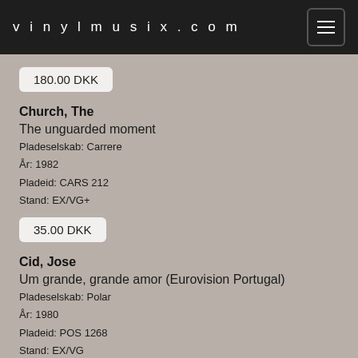vinylmusix.com
180.00 DKK
Church, The
The unguarded moment
Pladeselskab: Carrere
År: 1982
Pladeid: CARS 212
Stand: EX/VG+
35.00 DKK
Cid, Jose
Um grande, grande amor (Eurovision Portugal)
Pladeselskab: Polar
År: 1980
Pladeid: POS 1268
Stand: EX/VG
15.00 DKK